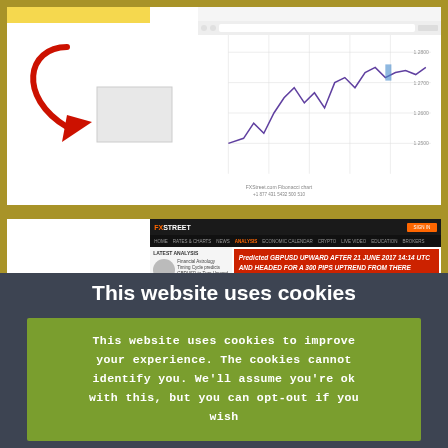[Figure (screenshot): Top section showing a website screenshot with a red arrow pointing right and a financial chart on the right side, set in a gold/olive border]
[Figure (screenshot): FXStreet website screenshot showing article: 'Financial Astrology Timing Cycle predicts GBPUSD to Turn Upward' with red banner text 'Predicted GBPUSD UPWARD AFTER 21 JUNE 2017 14:14 UTC AND HEADED FOR A 300 PIPS UPTREND FROM THERE'. GBPUSD label visible on lower left.]
This website uses cookies
This website uses cookies to improve your experience. The cookies cannot identify you. We'll assume you're ok with this, but you can opt-out if you wish